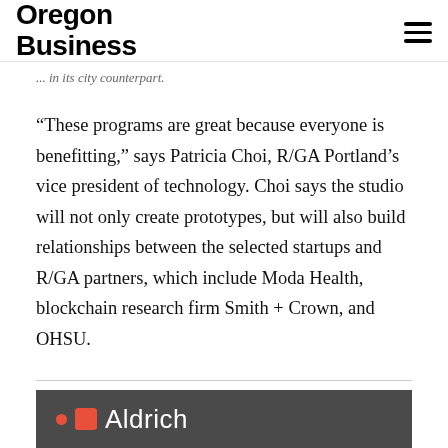Oregon Business
“These programs are great because everyone is benefitting,” says Patricia Choi, R/GA Portland’s vice president of technology. Choi says the studio will not only create prototypes, but will also build relationships between the selected startups and R/GA partners, which include Moda Health, blockchain research firm Smith + Crown, and OHSU.
[Figure (logo): Aldrich company logo on dark gray background with red dot and red square icon followed by the word Aldrich in white text]